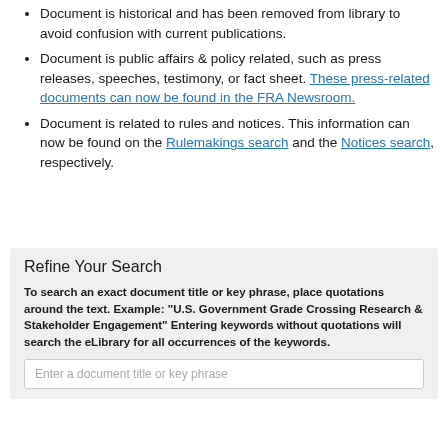Document is historical and has been removed from library to avoid confusion with current publications.
Document is public affairs & policy related, such as press releases, speeches, testimony, or fact sheet. These press-related documents can now be found in the FRA Newsroom.
Document is related to rules and notices. This information can now be found on the Rulemakings search and the Notices search, respectively.
Refine Your Search
To search an exact document title or key phrase, place quotations around the text. Example: "U.S. Government Grade Crossing Research & Stakeholder Engagement" Entering keywords without quotations will search the eLibrary for all occurrences of the keywords.
Enter a document title or key phrase